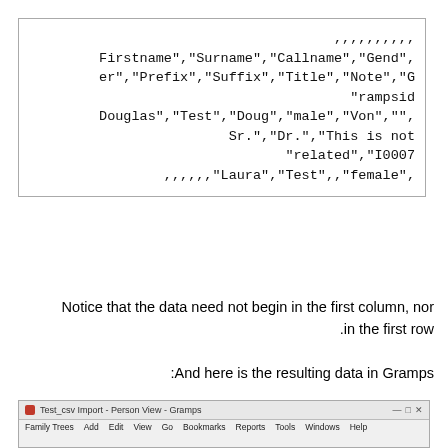[Figure (screenshot): A monospace code block showing CSV data with fields like Firstname, Surname, Callname, Gender, Prefix, Suffix, Title, Note, rampsid, and sample data rows for Douglas and Laura.]
Notice that the data need not begin in the first column, nor in the first row.
And here is the resulting data in Gramps:
[Figure (screenshot): A screenshot of the Gramps application window showing Person View with menu bar items: Family Trees, Add, Edit, View, Go, Bookmarks, Reports, Tools, Windows, Help.]